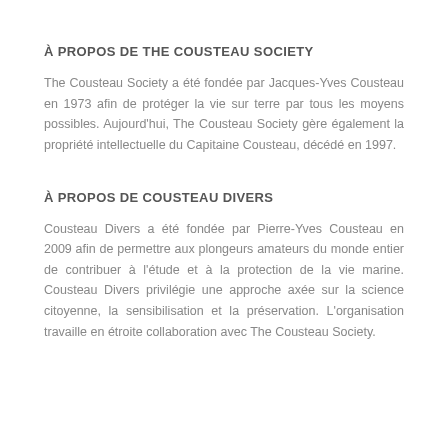À PROPOS DE THE COUSTEAU SOCIETY
The Cousteau Society a été fondée par Jacques-Yves Cousteau en 1973 afin de protéger la vie sur terre par tous les moyens possibles. Aujourd'hui, The Cousteau Society gère également la propriété intellectuelle du Capitaine Cousteau, décédé en 1997.
À PROPOS DE COUSTEAU DIVERS
Cousteau Divers a été fondée par Pierre-Yves Cousteau en 2009 afin de permettre aux plongeurs amateurs du monde entier de contribuer à l'étude et à la protection de la vie marine. Cousteau Divers privilégie une approche axée sur la science citoyenne, la sensibilisation et la préservation. L'organisation travaille en étroite collaboration avec The Cousteau Society.